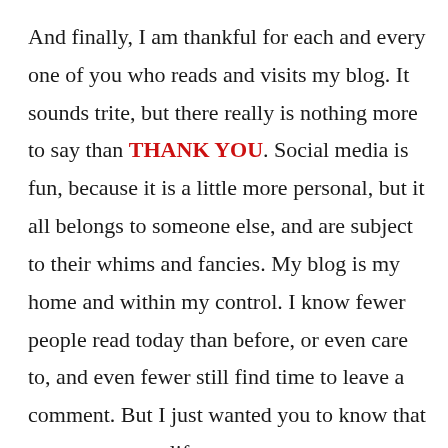And finally, I am thankful for each and every one of you who reads and visits my blog. It sounds trite, but there really is nothing more to say than THANK YOU. Social media is fun, because it is a little more personal, but it all belongs to someone else, and are subject to their whims and fancies. My blog is my home and within my control. I know fewer people read today than before, or even care to, and even fewer still find time to leave a comment. But I just wanted you to know that your comments lift me up, assure me someone's reading, and gives me the drive to go on blogging for those of you who still read. So thank you for visiting my humble digital abode, for sitting down for a virtual